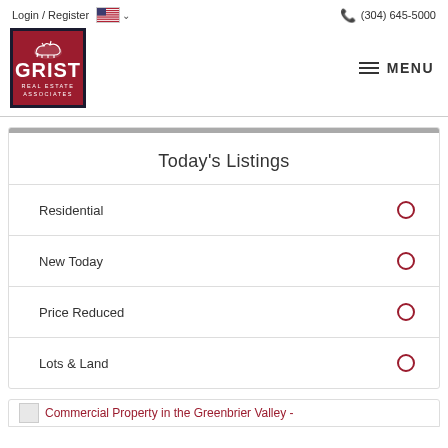Login / Register   (304) 645-5000
[Figure (logo): Grist Real Estate Associates logo — red square with white horse silhouette and text GRIST REAL ESTATE ASSOCIATES]
MENU
Today's Listings
Residential
New Today
Price Reduced
Lots & Land
Commercial Property in the Greenbrier Valley -